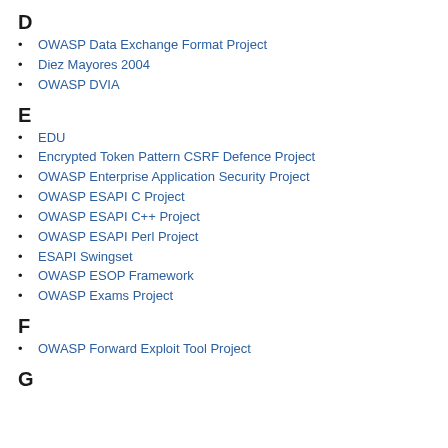D
OWASP Data Exchange Format Project
Diez Mayores 2004
OWASP DVIA
E
EDU
Encrypted Token Pattern CSRF Defence Project
OWASP Enterprise Application Security Project
OWASP ESAPI C Project
OWASP ESAPI C++ Project
OWASP ESAPI Perl Project
ESAPI Swingset
OWASP ESOP Framework
OWASP Exams Project
F
OWASP Forward Exploit Tool Project
G